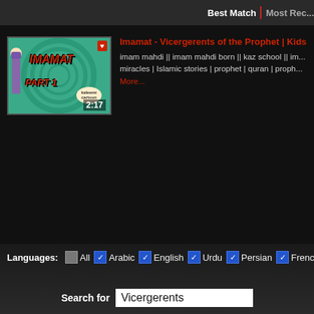Best Match | Most Recent
[Figure (screenshot): Video thumbnail for 'Imamat Part 1' showing animated Islamic cartoon with green swirl background and red bold text reading IMAMAT PART 1, duration 2:17]
Imamat - Vicergerents of the Prophet | Kids Is...
imam mahdi || imam mahdi born || kaz school || i... miracles | Islamic stories | prophet | quran | pro... More...
Video Tags: Imamat - Vicergerents of the Prophet | Kids Islamic Stori...
Languages: All Arabic English Urdu Persian French
Search for Vicergerents